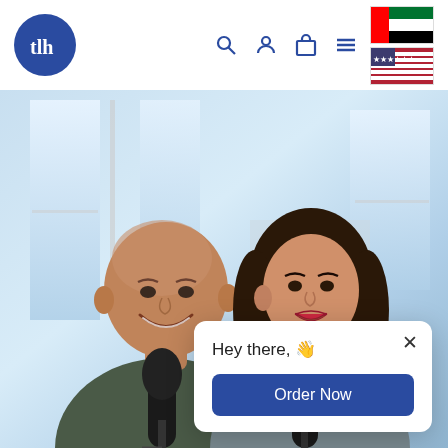tlh logo navigation bar with search, user, cart, menu icons and UAE/US flags
[Figure (photo): Two people smiling at camera in bright indoor setting with large windows behind them. Man on left is bald wearing dark t-shirt, woman on right has dark hair wearing jacket. Two microphones visible in foreground.]
Hey there, 👋
Order Now